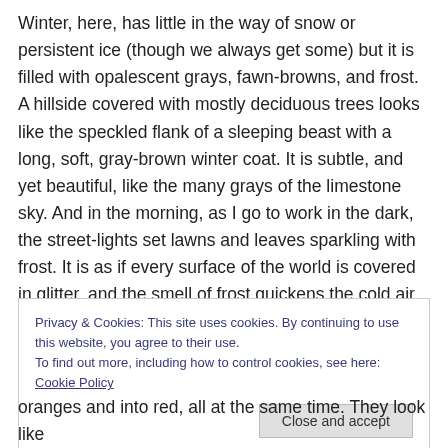Winter, here, has little in the way of snow or persistent ice (though we always get some) but it is filled with opalescent grays, fawn-browns, and frost. A hillside covered with mostly deciduous trees looks like the speckled flank of a sleeping beast with a long, soft, gray-brown winter coat. It is subtle, and yet beautiful, like the many grays of the limestone sky. And in the morning, as I go to work in the dark, the street-lights set lawns and leaves sparkling with frost. It is as if every surface of the world is covered in glitter, and the smell of frost quickens the cold air.
Privacy & Cookies: This site uses cookies. By continuing to use this website, you agree to their use.
To find out more, including how to control cookies, see here: Cookie Policy
Close and accept
oranges and into red, all at the same time. They look like